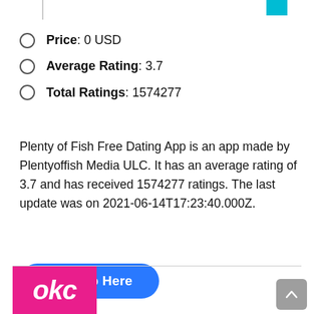Price: 0 USD
Average Rating: 3.7
Total Ratings: 1574277
Plenty of Fish Free Dating App is an app made by Plentyoffish Media ULC. It has an average rating of 3.7 and has received 1574277 ratings. The last update was on 2021-06-14T17:23:40.000Z.
Get App Here
[Figure (logo): OkCupid pink logo with 'okc' text in white italic bold font on magenta/pink background]